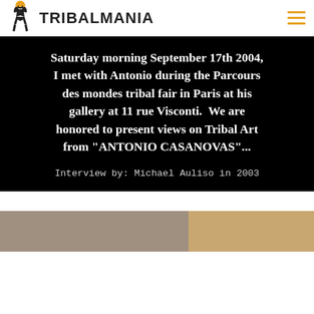TRIBALMANIA
Saturday morning September 17th 2004, I met with Antonio during the Parcours des mondes tribal fair in Paris at his gallery at 11 rue Visconti.  We are honored to present views on Tribal Art from "ANTONIO CASANOVAS"...
Interview by: Michael Auliso in 2003
[Figure (photo): Partial photo strip showing two people, left side in muted tones and right side with warm golden tones, cropped at bottom of page]